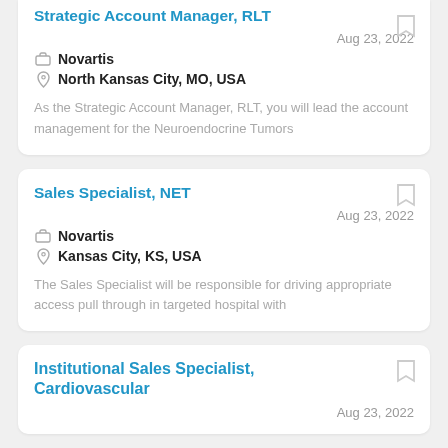Strategic Account Manager, RLT
Novartis | North Kansas City, MO, USA | Aug 23, 2022
As the Strategic Account Manager, RLT, you will lead the account management for the Neuroendocrine Tumors
Sales Specialist, NET
Novartis | Kansas City, KS, USA | Aug 23, 2022
The Sales Specialist will be responsible for driving appropriate access pull through in targeted hospital with
Institutional Sales Specialist, Cardiovascular
Aug 23, 2022